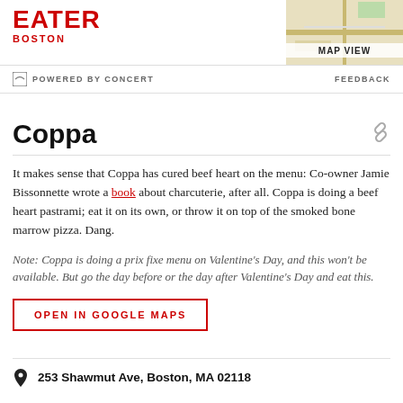EATER BOSTON | MAP VIEW
POWERED BY CONCERT | FEEDBACK
Coppa
It makes sense that Coppa has cured beef heart on the menu: Co-owner Jamie Bissonnette wrote a book about charcuterie, after all. Coppa is doing a beef heart pastrami; eat it on its own, or throw it on top of the smoked bone marrow pizza. Dang.
Note: Coppa is doing a prix fixe menu on Valentine’s Day, and this won’t be available. But go the day before or the day after Valentine’s Day and eat this.
OPEN IN GOOGLE MAPS
253 Shawmut Ave, Boston, MA 02118